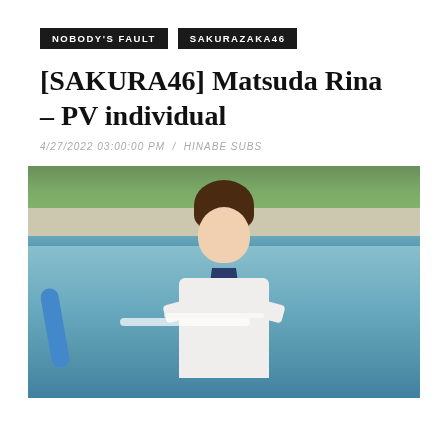NOBODY'S FAULT
SAKURAZAKA46
[SAKURA46] Matsuda Rina – PV individual
4/27/2022 03:00:00 PM  /  HINABE SUBS
[Figure (photo): Young woman in Japanese school uniform (white top with navy sailor collar) holding a water hose at what appears to be a school pool or outdoor area. Water is splashing. Background shows green fence/wall and blue pool area.]